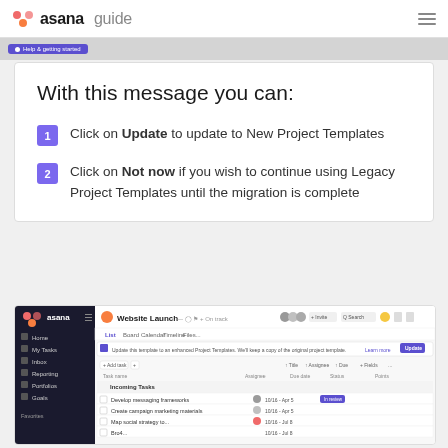asana guide
With this message you can:
Click on Update to update to New Project Templates
Click on Not now if you wish to continue using Legacy Project Templates until the migration is complete
[Figure (screenshot): Asana app screenshot showing Website Launch project with a banner message about updating to new Project Templates, and a task list including Incoming Tasks section with items like 'Develop messaging frameworks' and 'Create campaign marketing materials'.]